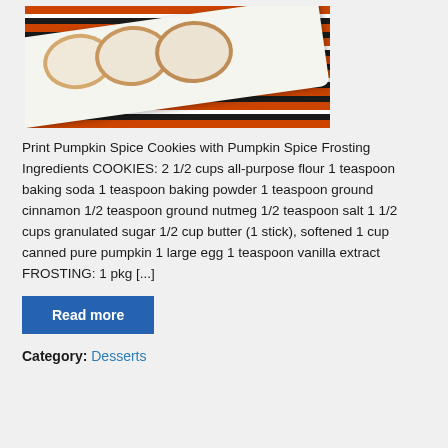[Figure (photo): Frosted pumpkin spice cookies on a white rectangular tray, arranged in a row, placed on an orange and black striped tablecloth]
Print Pumpkin Spice Cookies with Pumpkin Spice Frosting Ingredients COOKIES: 2 1/2 cups all-purpose flour 1 teaspoon baking soda 1 teaspoon baking powder 1 teaspoon ground cinnamon 1/2 teaspoon ground nutmeg 1/2 teaspoon salt 1 1/2 cups granulated sugar 1/2 cup butter (1 stick), softened 1 cup canned pure pumpkin 1 large egg 1 teaspoon vanilla extract FROSTING: 1 pkg [...]
Read more
Category: Desserts